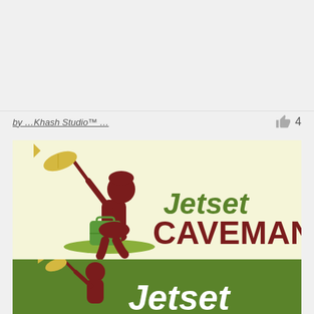by …Khash Studio™ …
[Figure (logo): Jetset Caveman logo on cream background: silhouette of a caveman carrying a fish on a stick and a suitcase, with text 'Jetset CAVEMAN' in green and dark red]
[Figure (logo): Jetset Caveman logo on green background: same caveman silhouette, partially visible bottom version of the logo]